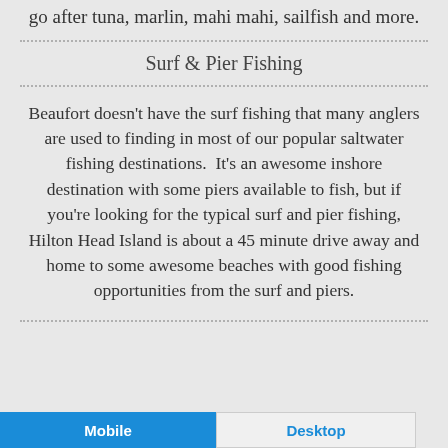go after tuna, marlin, mahi mahi, sailfish and more.
Surf & Pier Fishing
Beaufort doesn't have the surf fishing that many anglers are used to finding in most of our popular saltwater fishing destinations.  It's an awesome inshore destination with some piers available to fish, but if you're looking for the typical surf and pier fishing, Hilton Head Island is about a 45 minute drive away and home to some awesome beaches with good fishing opportunities from the surf and piers.
Mobile  Desktop